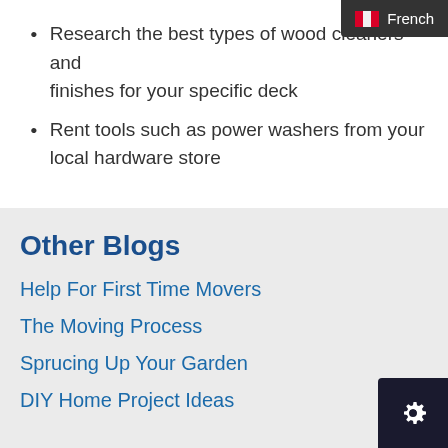Research the best types of wood cleaners and finishes for your specific deck
Rent tools such as power washers from your local hardware store
Other Blogs
Help For First Time Movers
The Moving Process
Sprucing Up Your Garden
DIY Home Project Ideas